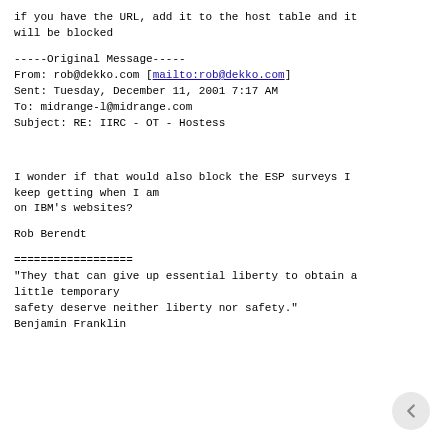if you have the URL, add it to the host table and it will be blocked
-----Original Message-----
From: rob@dekko.com [mailto:rob@dekko.com]
Sent: Tuesday, December 11, 2001 7:17 AM
To: midrange-l@midrange.com
Subject: RE: IIRC - OT - Hostess
I wonder if that would also block the ESP surveys I keep getting when I am
on IBM's websites?
Rob Berendt
==================
"They that can give up essential liberty to obtain a little temporary
safety deserve neither liberty nor safety."
Benjamin Franklin